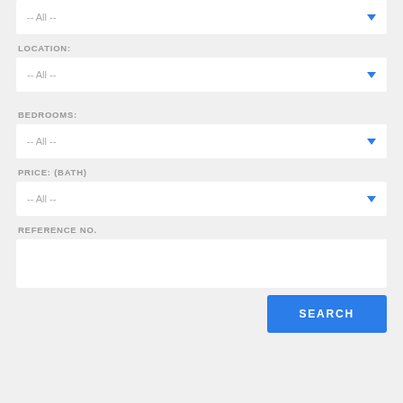[Figure (screenshot): A web form UI showing property search filters with dropdown selects for Location, Bedrooms, Price (Bath), a Reference No. text input, and a Search button.]
-- All --
LOCATION:
-- All --
BEDROOMS:
-- All --
PRICE: (BATH)
-- All --
REFERENCE NO.
SEARCH